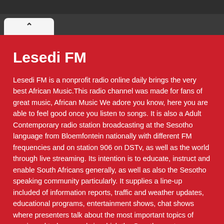Lesedi FM
Lesedi FM is a nonprofit radio online daily brings the very best African Music.This radio channel was made for fans of great music, African Music We adore you know, here you are able to feel good once you listen to songs. It is also a Adult Contemporary radio station broadcasting at the Sesotho language from Bloemfontein nationally with different FM frequencies and on station 906 on DSTv, as well as the world through live streaming. Its intention is to educate, instruct and enable South Africans generally, as well as also the Sesotho speaking community particularly. It supplies a line-up included of information reports, traffic and weather updates, educational programs, entertainment shows, chat shows where presenters talk about the most important topics of music and today reveals in which the Sesotho contemporary and traditional music are the principal focus. Lesedi FM has additionally available on its own site the podcasts into its most important displays in addition to the Best 30 playlist